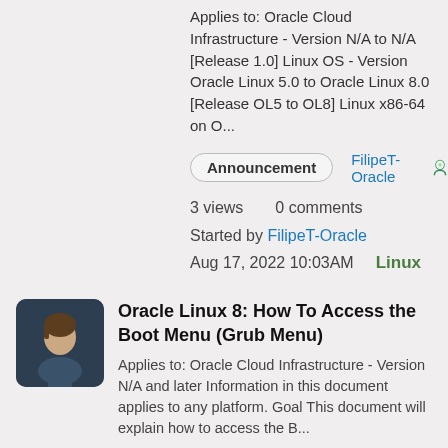Applies to: Oracle Cloud Infrastructure - Version N/A to N/A [Release 1.0] Linux OS - Version Oracle Linux 5.0 to Oracle Linux 8.0 [Release OL5 to OL8] Linux x86-64 on O...
Announcement   FilipeT-Oracle
3 views   0 comments
Started by FilipeT-Oracle
Aug 17, 2022 10:03AM   Linux
Oracle Linux 8: How To Access the Boot Menu (Grub Menu)
Applies to: Oracle Cloud Infrastructure - Version N/A and later Information in this document applies to any platform. Goal This document will explain how to access the B...
Artur Pinheiro-Oracle   3 views   0 comments